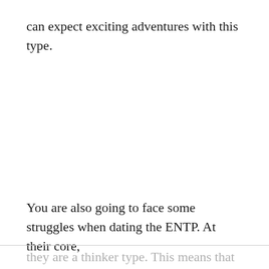can expect exciting adventures with this type.
You are also going to face some struggles when dating the ENTP. At their core,
they are a thinker type. This means that they place logic over emotions. If you are